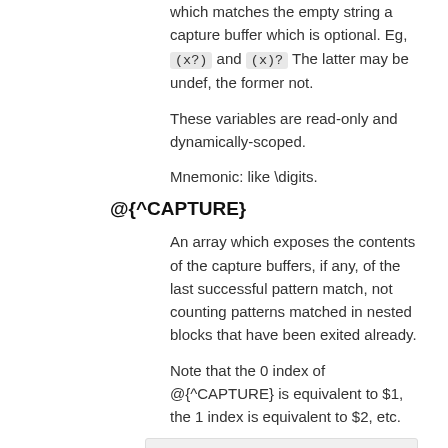which matches the empty string a capture buffer which is optional. Eg, (x?) and (x)? The latter may be undef, the former not.
These variables are read-only and dynamically-scoped.
Mnemonic: like \digits.
@{^CAPTURE}
An array which exposes the contents of the capture buffers, if any, of the last successful pattern match, not counting patterns matched in nested blocks that have been exited already.
Note that the 0 index of @{^CAPTURE} is equivalent to $1, the 1 index is equivalent to $2, etc.
if ("foal"=~/(.)(.)(.)(.)/\) {
    print join "-", @{^CAPTURE};
}